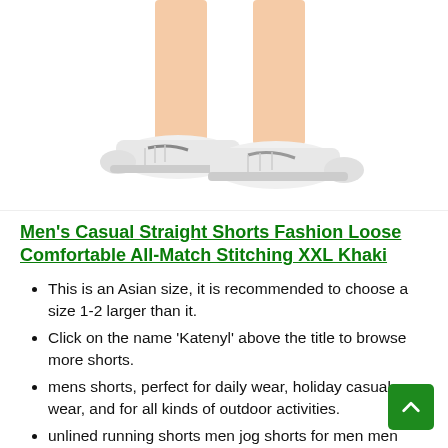[Figure (photo): Product photo showing two white sneakers worn on legs, cropped at thigh level, white background]
Men's Casual Straight Shorts Fashion Loose Comfortable All-Match Stitching XXL Khaki
This is an Asian size, it is recommended to choose a size 1-2 larger than it.
Click on the name 'Katenyl' above the title to browse more shorts.
mens shorts, perfect for daily wear, holiday casual wear, and for all kinds of outdoor activities.
unlined running shorts men jog shorts for men men elastic shorts thigh shorts men 2x basketball shorts men comfort stretch shorts for men navy gym shorts men basketball gym shorts for men 70s running shorts men 3 quarter shorts men yellow compression shorts men formal shirts for